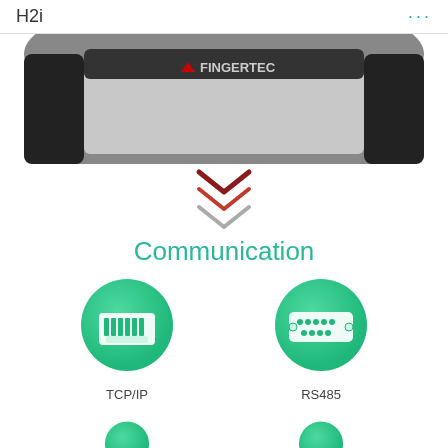H2i
[Figure (photo): FingerTec H2i biometric device, top portion visible showing black and silver casing with FingerTec logo]
[Figure (illustration): Two downward-pointing chevron arrows, top one in red/dark red, bottom one in gray, indicating scroll down]
Communication
[Figure (infographic): TCP/IP communication icon: green circle with white ethernet/RJ45 port icon]
[Figure (infographic): RS485 communication icon: green circle with white DB9 serial connector icon]
TCP/IP
RS485